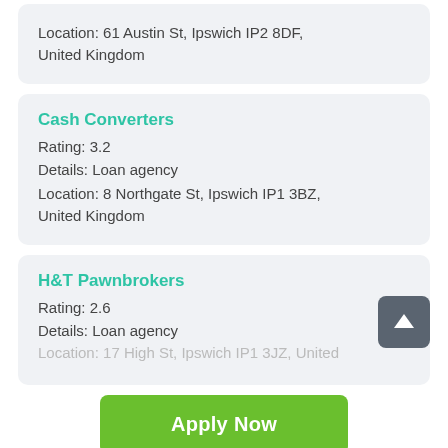Location: 61 Austin St, Ipswich IP2 8DF, United Kingdom
Cash Converters
Rating: 3.2
Details: Loan agency
Location: 8 Northgate St, Ipswich IP1 3BZ, United Kingdom
H&T Pawnbrokers
Rating: 2.6
Details: Loan agency
Location: 17 High St, Ipswich IP1 3JZ, United
Apply Now
Applying does NOT affect your credit score!
No credit check to apply.